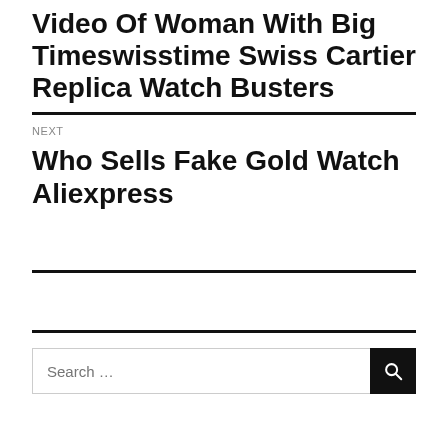Video Of Woman With Big Timeswisstime Swiss Cartier Replica Watch Busters
NEXT
Who Sells Fake Gold Watch Aliexpress
Search ...